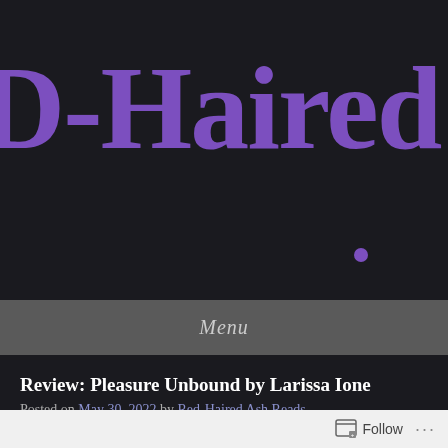D-Haired A
Menu
Review: Pleasure Unbound by Larissa Ione
Posted on May 30, 2022 by Red-Haired Ash Reads
Follow ...